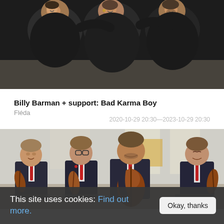[Figure (photo): Three young people in black clothing huddled together smiling, photographed from above/front, dark background]
Billy Barman + support: Bad Karma Boy
Fléda
2020-10-29 20:30—2023-10-29 20:30
[Figure (photo): Four men in dark suits with red ties holding string instruments (violins and cello), seated in a formal setting with bright windows in the background]
This site uses cookies: Find out more.
Okay, thanks